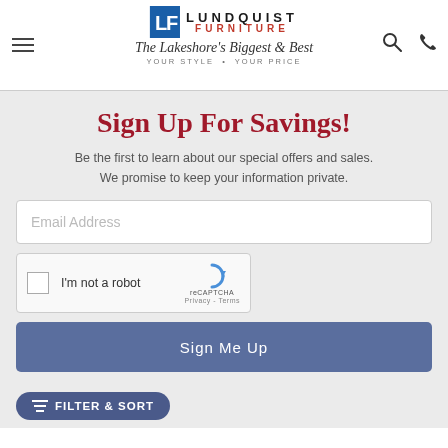[Figure (logo): Lundquist Furniture logo with blue LF monogram, company name, script tagline 'The Lakeshore's Biggest & Best', and 'YOUR STYLE • YOUR PRICE']
Sign Up For Savings!
Be the first to learn about our special offers and sales. We promise to keep your information private.
[Figure (screenshot): Email Address input field]
[Figure (screenshot): reCAPTCHA widget with checkbox 'I'm not a robot']
[Figure (screenshot): Sign Me Up button]
[Figure (screenshot): Filter & Sort button at bottom left]